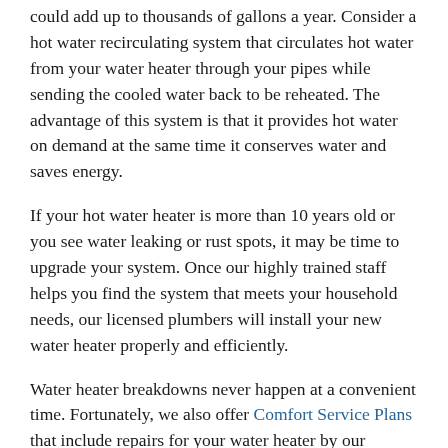could add up to thousands of gallons a year. Consider a hot water recirculating system that circulates hot water from your water heater through your pipes while sending the cooled water back to be reheated. The advantage of this system is that it provides hot water on demand at the same time it conserves water and saves energy.
If your hot water heater is more than 10 years old or you see water leaking or rust spots, it may be time to upgrade your system. Once our highly trained staff helps you find the system that meets your household needs, our licensed plumbers will install your new water heater properly and efficiently.
Water heater breakdowns never happen at a convenient time. Fortunately, we also offer Comfort Service Plans that include repairs for your water heater by our trained technicians.